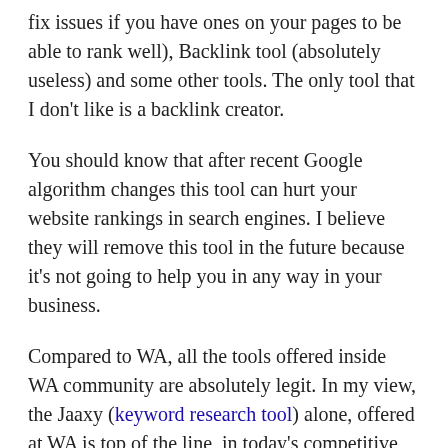fix issues if you have ones on your pages to be able to rank well), Backlink tool (absolutely useless) and some other tools. The only tool that I don't like is a backlink creator.
You should know that after recent Google algorithm changes this tool can hurt your website rankings in search engines. I believe they will remove this tool in the future because it's not going to help you in any way in your business.
Compared to WA, all the tools offered inside WA community are absolutely legit. In my view, the Jaaxy (keyword research tool) alone, offered at WA is top of the line, in today's competitive market.